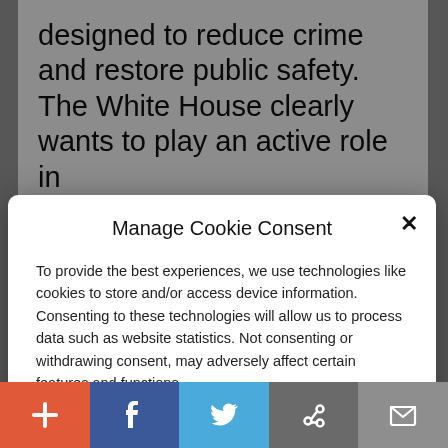designed to reduce crime and restore public safety.  The White House clearly wants to play an active role in
Manage Cookie Consent
To provide the best experiences, we use technologies like cookies to store and/or access device information. Consenting to these technologies will allow us to process data such as website statistics. Not consenting or withdrawing consent, may adversely affect certain features and functions.
Accept
Cookie Policy  Privacy Policy
the burden on state and local law enforcement.